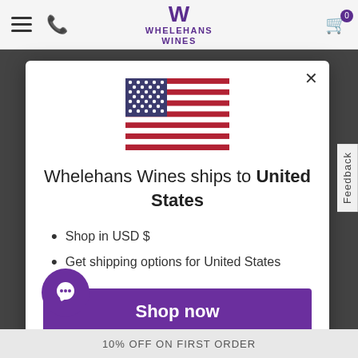[Figure (screenshot): Whelehans Wines website navigation bar with hamburger menu, phone icon, purple W logo, and cart icon]
Whelehans Wines ships to United States
Shop in USD $
Get shipping options for United States
Shop now
Change shipping country
Feedback
10% OFF ON FIRST ORDER